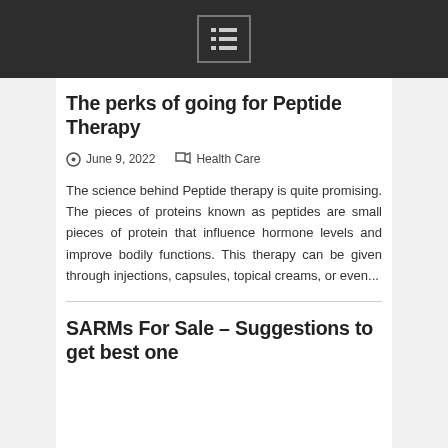[menu icon]
The perks of going for Peptide Therapy
June 9, 2022   Health Care
The science behind Peptide therapy is quite promising. The pieces of proteins known as peptides are small pieces of protein that influence hormone levels and improve bodily functions. This therapy can be given through injections, capsules, topical creams, or even...
SARMs For Sale – Suggestions to get best one